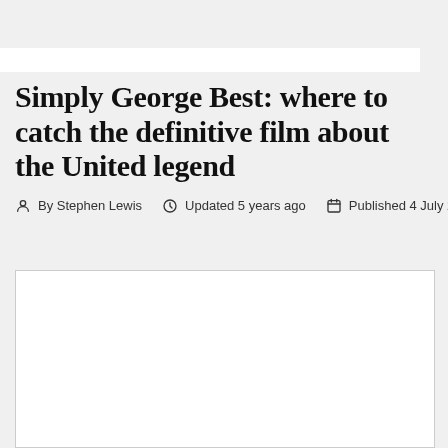Simply George Best: where to catch the definitive film about the United legend
By Stephen Lewis   Updated 5 years ago   Published 4 July 2017
[Figure (photo): White rectangle placeholder image box with a thin border]